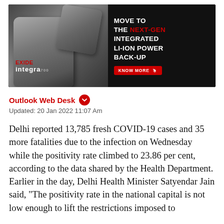[Figure (advertisement): Exide Integra 700 advertisement showing a battery backup unit with text: MOVE TO THE NEXT-GEN INTEGRATED LI-ION POWER BACK-UP and a KNOW MORE button]
Outlook Web Desk
Updated: 20 Jan 2022 11:07 Am
Delhi reported 13,785 fresh COVID-19 cases and 35 more fatalities due to the infection on Wednesday while the positivity rate climbed to 23.86 per cent, according to the data shared by the Health Department. Earlier in the day, Delhi Health Minister Satyendar Jain said, "The positivity rate in the national capital is not low enough to lift the restrictions imposed to